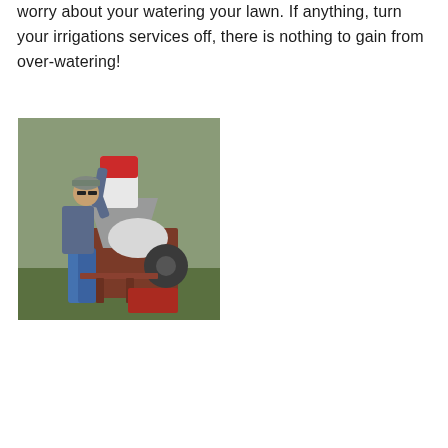worry about your watering your lawn. If anything, turn your irrigations services off, there is nothing to gain from over-watering!
[Figure (photo): A man in a baseball cap and blue jeans pouring a large bag of fertilizer or seed into a funnel-topped piece of farm equipment (planter or spreader), outdoors with trees in the background.]